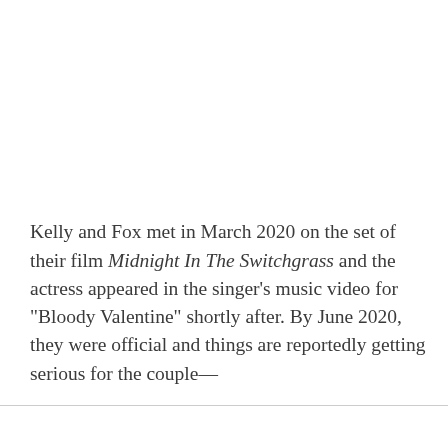Kelly and Fox met in March 2020 on the set of their film Midnight In The Switchgrass and the actress appeared in the singer's music video for "Bloody Valentine" shortly after. By June 2020, they were official and things are reportedly getting serious for the couple—